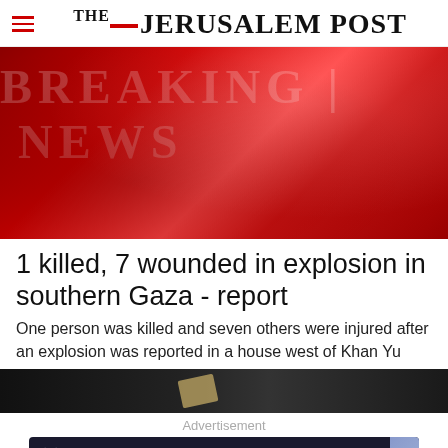THE JERUSALEM POST
[Figure (photo): Breaking News red graphic banner with large semi-transparent text reading BREAKING NEWS]
1 killed, 7 wounded in explosion in southern Gaza - report
One person was killed and seven others were injured after an explosion was reported in a house west of Khan Yu
[Figure (photo): Dark image with a partially visible book or object on dark background]
Advertisement
[Figure (other): Advertisement banner for Reichman University Raphael Recanati International School with Apply online today button]